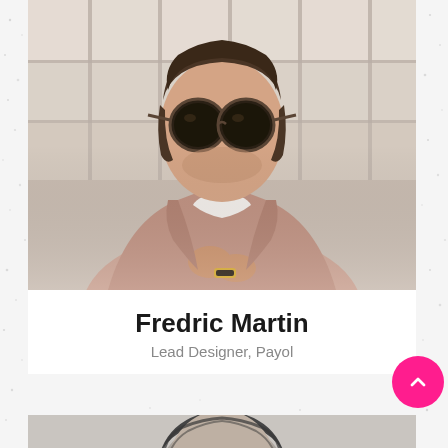[Figure (photo): Portrait photo of a man wearing round sunglasses and a dusty rose/mauve jacket over a white shirt, seated and looking to the side in an urban setting]
Fredric Martin
Lead Designer, Payol
[Figure (photo): Partial view of a second person's portrait in black and white, cropped at the bottom of the page]